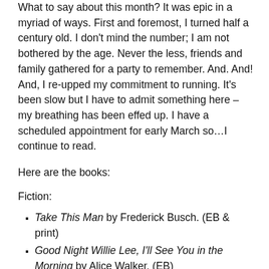What to say about this month? It was epic in a myriad of ways. First and foremost, I turned half a century old. I don't mind the number; I am not bothered by the age. Never the less, friends and family gathered for a party to remember. And. And! And, I re-upped my commitment to running. It's been slow but I have to admit something here – my breathing has been effed up. I have a scheduled appointment for early March so…I continue to read.
Here are the books:
Fiction:
Take This Man by Frederick Busch. (EB & print)
Good Night Willie Lee, I'll See You in the Morning by Alice Walker. (EB)
Crossers by Philip Caputo. (EB and print)
Alone in the Crowd by Luiz Alfredo Garcia-Roza. (EB